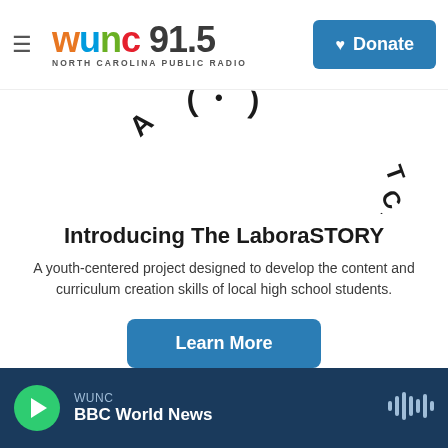WUNC 91.5 NORTH CAROLINA PUBLIC RADIO | Donate
[Figure (logo): Circular arc logo reading 'A WUNC PROJECT' with decorative circular design elements]
Introducing The LaboraSTORY
A youth-centered project designed to develop the content and curriculum creation skills of local high school students.
Learn More
WUNC | BBC World News